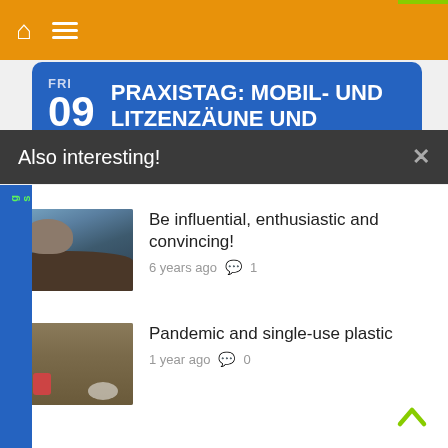Navigation bar with home and menu icons
FRI 09 PRAXISTAG: MOBIL- UND LITZENZÄUNE UND
Also interesting!
Be influential, enthusiastic and convincing!
6 years ago  1
[Figure (photo): Bird or animal perched in dark tree branches against a blue-grey sky]
Pandemic and single-use plastic
1 year ago  0
[Figure (photo): Litter and single-use plastic waste on sandy ground with twigs]